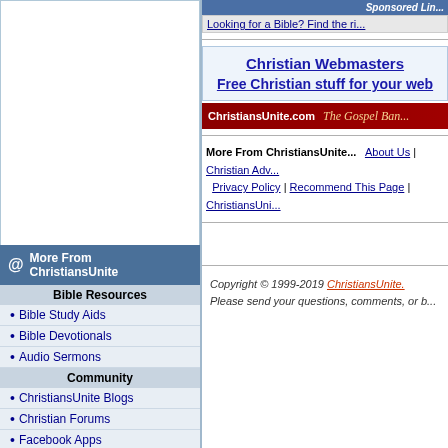More From ChristiansUnite
Bible Resources
Bible Study Aids
Bible Devotionals
Audio Sermons
Community
ChristiansUnite Blogs
Christian Forums
Facebook Apps
Web Search
Christian Family Sites
Top Christian Sites
Christian RSS Feeds
Family Life
Christian Finance
ChristiansUnite KIDS
Sponsored Link
Looking for a Bible? Find the right Bible for you.
Christian Webmasters
Free Christian stuff for your web
[Figure (screenshot): ChristiansUnite.com The Gospel Banner advertisement]
More From ChristiansUnite...  About Us | Christian Advo... Privacy Policy | Recommend This Page | ChristiansUni...
Copyright © 1999-2019 ChristiansUnite. Please send your questions, comments, or b...